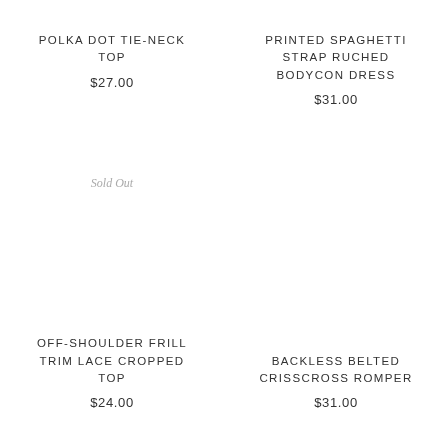POLKA DOT TIE-NECK TOP
$27.00
PRINTED SPAGHETTI STRAP RUCHED BODYCON DRESS
$31.00
Sold Out
OFF-SHOULDER FRILL TRIM LACE CROPPED TOP
$24.00
BACKLESS BELTED CRISSCROSS ROMPER
$31.00